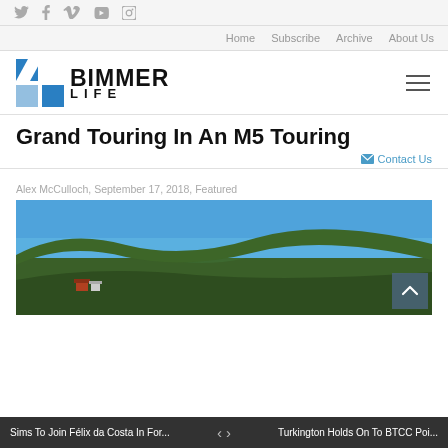Social icons: Twitter, Facebook, Vimeo, YouTube, Instagram
Home   Subscribe   Archive   About Us
[Figure (logo): Bimmer Life logo — blue geometric BMW-style icon with BIMMER LIFE text in bold black]
Grand Touring In An M5 Touring
✉ Contact Us
Alex McCulloch, September 17, 2018, Featured
[Figure (photo): Landscape photograph of green forested hills under a bright blue sky, with a small red-roofed building visible at the base of the hills and mountains in the background]
Sims To Join Félix da Costa In For...     <   >     Turkington Holds On To BTCC Poi...